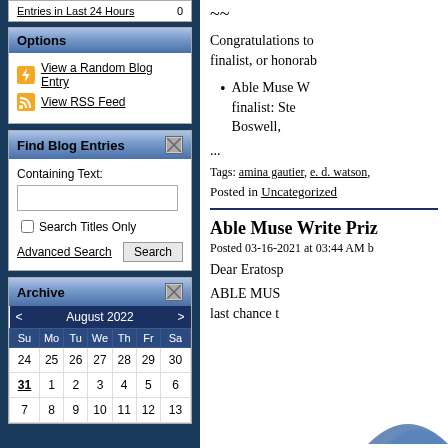Entries in Last 24 Hours    0
Options
View a Random Blog Entry
View RSS Feed
Find Blog Entries
Containing Text:
Search Titles Only
Advanced Search    Search
Archive
| Su | Mo | Tu | We | Th | Fr | Sa |
| --- | --- | --- | --- | --- | --- | --- |
| 24 | 25 | 26 | 27 | 28 | 29 | 30 |
| 31 | 1 | 2 | 3 | 4 | 5 | 6 |
| 7 | 8 | 9 | 10 | 11 | 12 | 13 |
~~
Congratulations to finalist, or honorab
Able Muse W finalist: Ste Boswell,
...
Tags: amina gautier, e. d. watson,
Posted in Uncategorized
Able Muse Write Priz
Posted 03-16-2021 at 03:44 AM b
Dear Eratosp
ABLE MUS last chance t